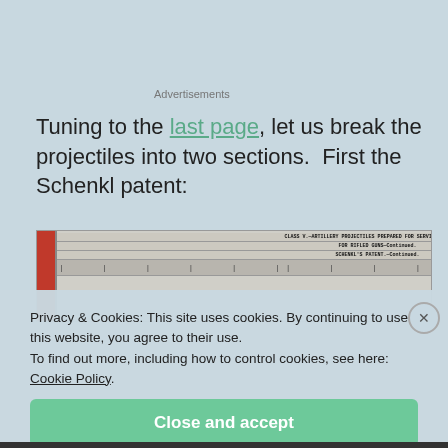Advertisements
Tuning to the last page, let us break the projectiles into two sections.  First the Schenkl patent:
[Figure (table-as-image): Scanned historical document table showing artillery projectiles prepared for service, for rifled guns, Schenkl patent section. Table has red margin bar on left, column headers in small print, and tick marks row.]
Privacy & Cookies: This site uses cookies. By continuing to use this website, you agree to their use.
To find out more, including how to control cookies, see here: Cookie Policy.
Close and accept